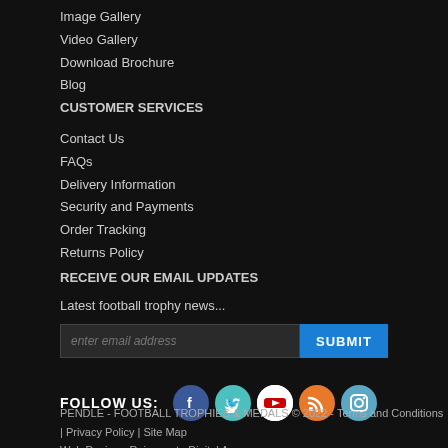Image Gallery
Video Gallery
Download Brochure
Blog
CUSTOMER SERVICES
Contact Us
FAQs
Delivery Information
Security and Payments
Order Tracking
Returns Policy
RECEIVE OUR EMAIL UPDATES
Latest football trophy news...
enter email address | SUBMIT
FOLLOW US:
PENDLE - FOOTBALL TROPHIES & MEDALS © 2022 - Terms and Conditions | Privacy Policy | Site Map
Web Design - Rejuvenate Digital Agency